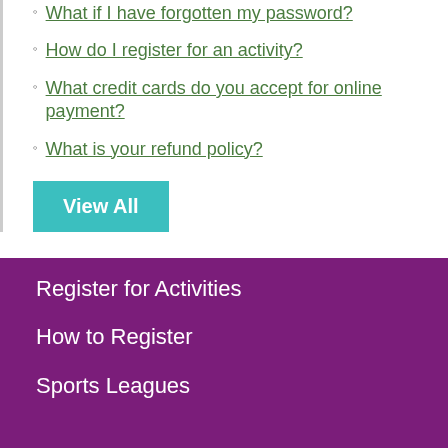What if I have forgotten my password?
How do I register for an activity?
What credit cards do you accept for online payment?
What is your refund policy?
View All
Register for Activities
How to Register
Sports Leagues